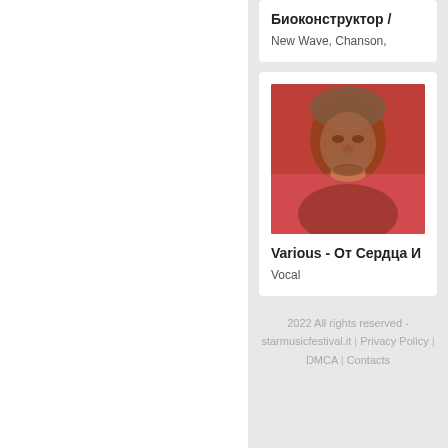Биоконструктор /
New Wave, Chanson,
[Figure (photo): Album cover for 'Various - От Сердца И': a stylized portrait of a person in reddish-orange tones, wearing a helmet or hat, with an intense expression. The image is predominantly red and brown.]
Various - От Сердца И
Vocal
2022 All rights reserved - starmusicfestival.it | Privacy Policy | DMCA | Contacts